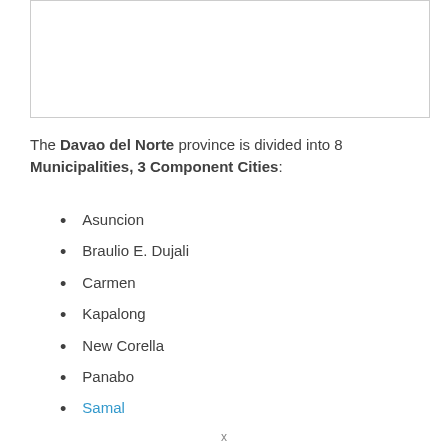[Figure (other): Image placeholder box (map or image, content not visible)]
The Davao del Norte province is divided into 8 Municipalities, 3 Component Cities:
Asuncion
Braulio E. Dujali
Carmen
Kapalong
New Corella
Panabo
Samal
x